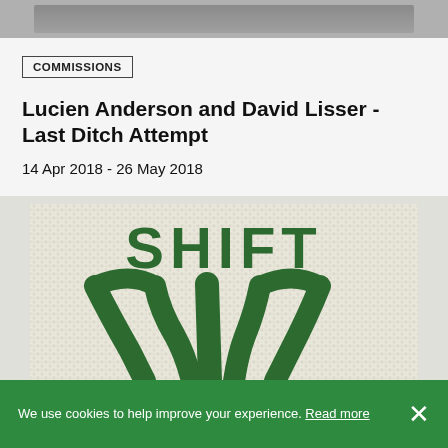[Figure (photo): Top strip showing partial image, appears to be a landscape or artwork photo cropped at the top of the page]
COMMISSIONS
Lucien Anderson and David Lisser - Last Ditch Attempt
14 Apr 2018 - 26 May 2018
[Figure (illustration): Artwork image showing the word SHIFT in dark green letters above a green abstract figure/logo on a textured mosaic-like cream and green background]
We use cookies to help improve your experience. Read more